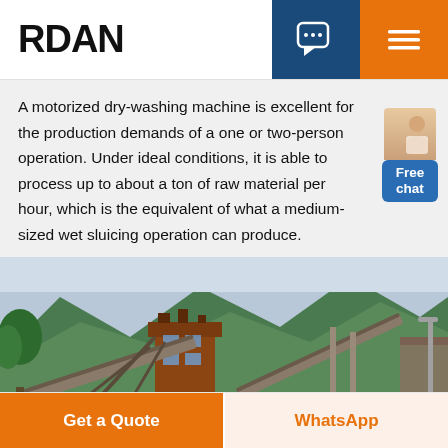RDAN
A motorized dry-washing machine is excellent for the production demands of a one or two-person operation. Under ideal conditions, it is able to process up to about a ton of raw material per hour, which is the equivalent of what a medium-sized wet sluicing operation can produce.
[Figure (photo): Industrial mining facility with conveyor belts and a tower structure, set against a mountainous green landscape with a light sky.]
Get a Quote | WhatsApp